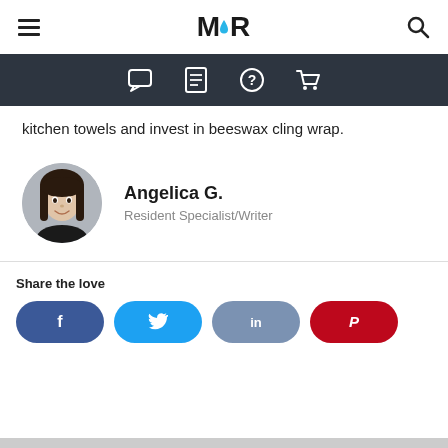MR [logo with water drop]
[Figure (screenshot): Dark navigation bar with chat bubble, list/document, question mark, and shopping cart icons]
kitchen towels and invest in beeswax cling wrap.
[Figure (photo): Circular profile photo of Angelica G., a woman with dark hair wearing a black top, smiling against a gray background]
Angelica G.
Resident Specialist/Writer
Share the love
[Figure (infographic): Four social share buttons: Facebook (blue, f icon), Twitter (light blue, bird icon), LinkedIn (blue-gray, in icon), Pinterest (red, P icon)]